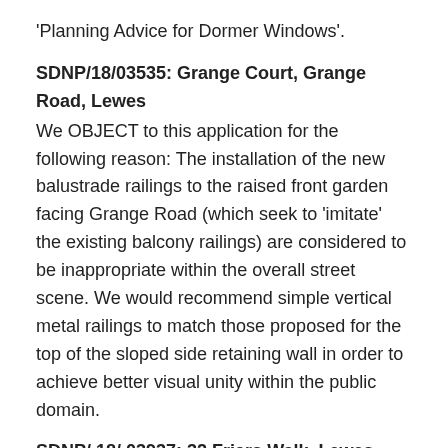'Planning Advice for Dormer Windows'.
SDNP/18/03535: Grange Court, Grange Road, Lewes
We OBJECT to this application for the following reason: The installation of the new balustrade railings to the raised front garden facing Grange Road (which seek to 'imitate' the existing balcony railings) are considered to be inappropriate within the overall street scene. We would recommend simple vertical metal railings to match those proposed for the top of the sloped side retaining wall in order to achieve better visual unity within the public domain.
SDNP/ 18/ 03937: 32 Friars Walk, Lewes
Although we appreciate the care been taken in the proposed works for the Meeting House, we are concerned that the adjacent mathematical tiles should remain